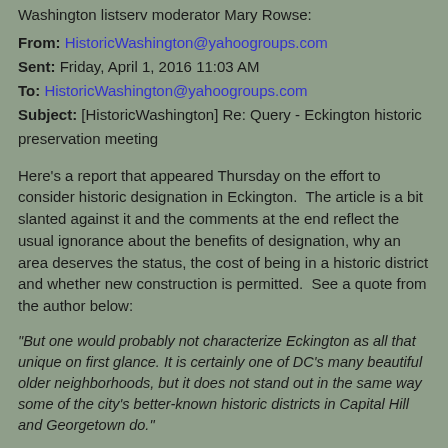Washington listserv moderator Mary Rowse:
From: HistoricWashington@yahoogroups.com
Sent: Friday, April 1, 2016 11:03 AM
To: HistoricWashington@yahoogroups.com
Subject: [HistoricWashington] Re: Query - Eckington historic preservation meeting
Here's a report that appeared Thursday on the effort to consider historic designation in Eckington.  The article is a bit slanted against it and the comments at the end reflect the usual ignorance about the benefits of designation, why an area deserves the status, the cost of being in a historic district and whether new construction is permitted.  See a quote from the author below:
"But one would probably not characterize Eckington as all that unique on first glance. It is certainly one of DC's many beautiful older neighborhoods, but it does not stand out in the same way some of the city's better-known historic districts in Capital Hill and Georgetown do."
I suspect the only reason those neighborhoods "stand